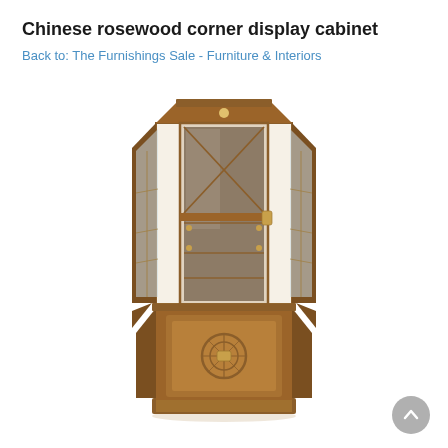Chinese rosewood corner display cabinet
Back to: The Furnishings Sale - Furniture & Interiors
[Figure (photo): A tall Chinese rosewood corner display cabinet with glass-panelled upper section showing shelves and mirror interior, angled corner design, brass fittings, and a solid carved lower cupboard with decorative panel, sitting on a plinth base.]